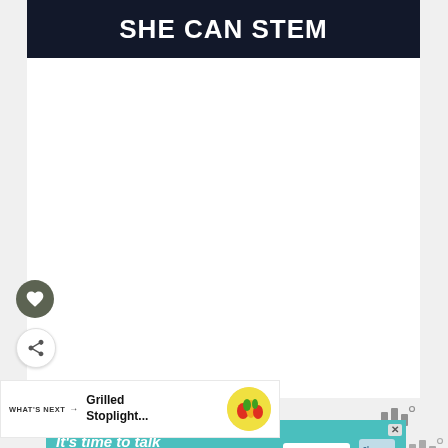SHE CAN STEM
[Figure (illustration): Heart/like button icon (circular olive-green button with white heart) and share button (circular white button with share icon), social media interaction buttons]
WHAT'S NEXT → Grilled Stoplight...
[Figure (illustration): Circular thumbnail of grilled stoplight pepper dish]
[Figure (logo): Three vertical bars logo with superscript circle (mmm° branding)]
[Figure (screenshot): Advertisement banner: teal/cyan background with text 'It's time to talk about Alzheimer's.' with LEARN MORE button and Alzheimer's Association logo, with close X button]
[Figure (logo): Three vertical bars logo with superscript circle (mmm° branding) on right side]